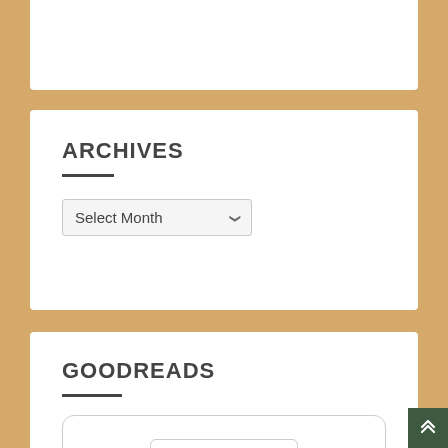ARCHIVES
Select Month
GOODREADS
[Figure (logo): Goodreads logo widget showing the text 'goodreads' with a registered trademark symbol inside a rounded rectangle border]